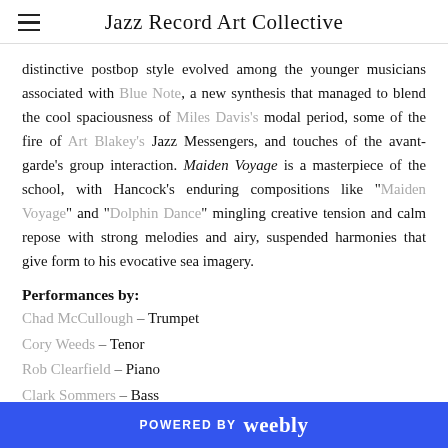Jazz Record Art Collective
distinctive postbop style evolved among the younger musicians associated with Blue Note, a new synthesis that managed to blend the cool spaciousness of Miles Davis's modal period, some of the fire of Art Blakey's Jazz Messengers, and touches of the avant-garde's group interaction. Maiden Voyage is a masterpiece of the school, with Hancock's enduring compositions like "Maiden Voyage" and "Dolphin Dance" mingling creative tension and calm repose with strong melodies and airy, suspended harmonies that give form to his evocative sea imagery.
Performances by:
Chad McCullough – Trumpet
Cory Weeds – Tenor
Rob Clearfield – Piano
Clark Sommers – Bass
POWERED BY weebly